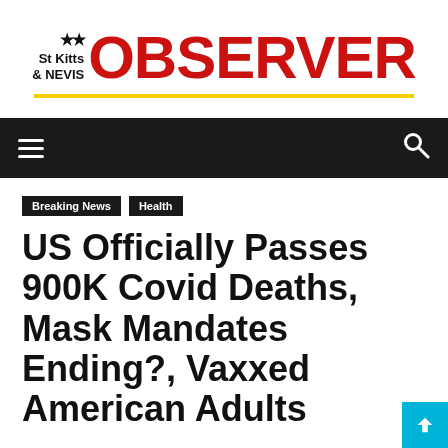[Figure (logo): St Kitts & Nevis Observer newspaper logo with two stars and bold red OBSERVER text, underlined with a yellow horizontal line]
Navigation bar with hamburger menu icon on left and search icon on right, dark background
Breaking News  Health
US Officially Passes 900K Covid Deaths, Mask Mandates Ending?, Vaxxed American Adults Now Authorized to...